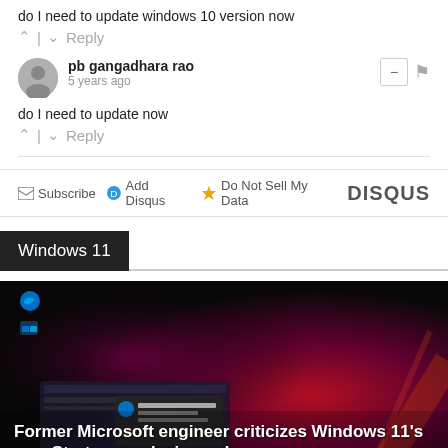do I need to update windows 10 version now
^ | v  Reply
pb gangadhara rao
5 years ago
do I need to update now
^ | v  Reply
Subscribe  Add Disqus  Do Not Sell My Data  DISQUS
Windows 11
[Figure (screenshot): Screenshot of a Windows 11 desktop with a dark reddish-purple background, showing Edge browser icon and Start menu items. Article thumbnail image.]
Former Microsoft engineer criticizes Windows 11's new Start menu design, ads